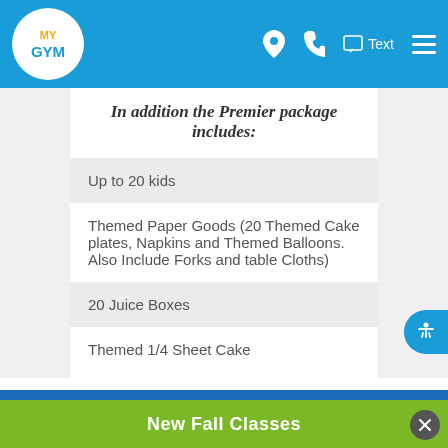My Gym navigation bar with logo, location, phone, text, and menu icons
In addition the Premier package includes:
Up to 20 kids
Themed Paper Goods (20 Themed Cake plates, Napkins and Themed Balloons. Also Include Forks and table Cloths)
20 Juice Boxes
Themed 1/4 Sheet Cake
More Info
New Fall Classes